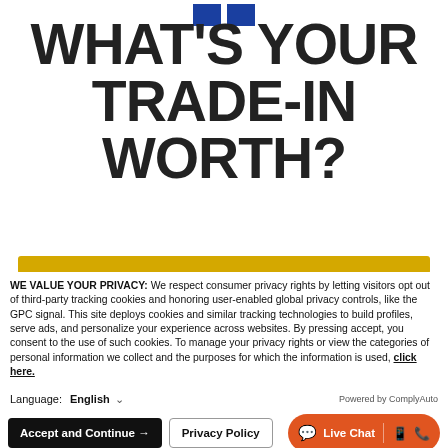[Figure (logo): Two blue squares representing a logo/brand mark at top center]
WHAT'S YOUR TRADE-IN WORTH?
WE VALUE YOUR PRIVACY: We respect consumer privacy rights by letting visitors opt out of third-party tracking cookies and honoring user-enabled global privacy controls, like the GPC signal. This site deploys cookies and similar tracking technologies to build profiles, serve ads, and personalize your experience across websites. By pressing accept, you consent to the use of such cookies. To manage your privacy rights or view the categories of personal information we collect and the purposes for which the information is used, click here.
Language: English
Powered by ComplyAuto
Accept and Continue →
Privacy Policy
Live Chat